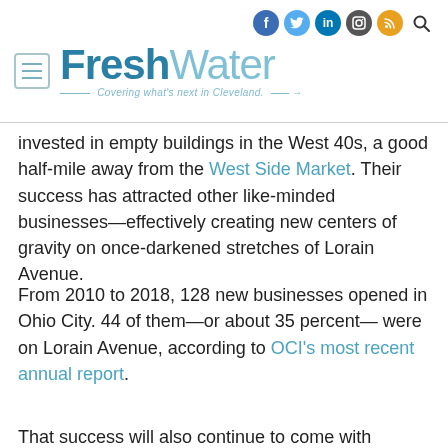[Figure (logo): FreshWater Cleveland website logo with hamburger menu icon, social media icons (Facebook, Twitter, LinkedIn, Instagram, RSS) and search icon at top right. Tagline: Covering what's next in Cleveland.]
invested in empty buildings in the West 40s, a good half-mile away from the West Side Market. Their success has attracted other like-minded businesses—effectively creating new centers of gravity on once-darkened stretches of Lorain Avenue.
From 2010 to 2018, 128 new businesses opened in Ohio City. 44 of them—or about 35 percent— were on Lorain Avenue, according to OCI's most recent annual report.
That success will also continue to come with...